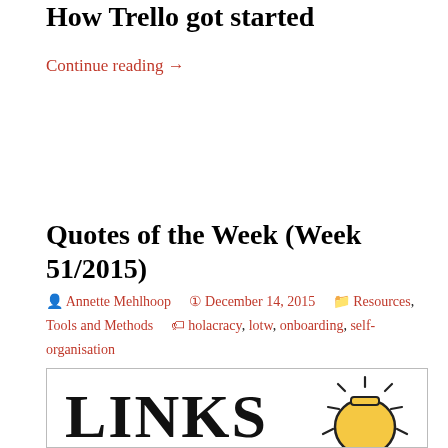How Trello got started
Continue reading →
Quotes of the Week (Week 51/2015)
Annette Mehlhoop   December 14, 2015   Resources, Tools and Methods   holacracy, lotw, onboarding, self-organisation
[Figure (illustration): Image with the word LINKS in large bold serif text and a yellow light bulb illustration with radiating lines on the right side, inside a light gray bordered box.]